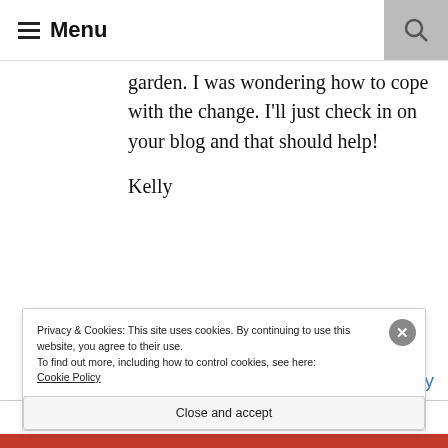≡ Menu
garden. I was wondering how to cope with the change. I'll just check in on your blog and that should help!

Kelly
Reply
Privacy & Cookies: This site uses cookies. By continuing to use this website, you agree to their use.
To find out more, including how to control cookies, see here:
Cookie Policy
Close and accept